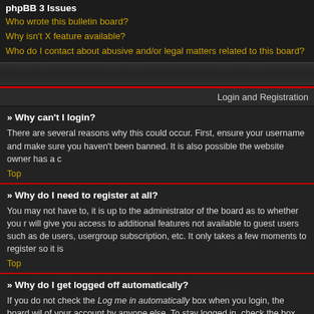phpBB 3 Issues
Who wrote this bulletin board?
Why isn't X feature available?
Who do I contact about abusive and/or legal matters related to this board?
Login and Registration
» Why can't I login?
There are several reasons why this could occur. First, ensure your username and make sure you haven't been banned. It is also possible the website owner has a c
Top
» Why do I need to register at all?
You may not have to, it is up to the administrator of the board as to whether you r will give you access to additional features not available to guest users such as de users, usergroup subscription, etc. It only takes a few moments to register so it is
Top
» Why do I get logged off automatically?
If you do not check the Log me in automatically box when you login, the board wil of your account by anyone else. To stay logged in, check the box during login. Thi computer, e.g. library, internet cafe, university computer lab, etc. If you do not see this feature.
Top